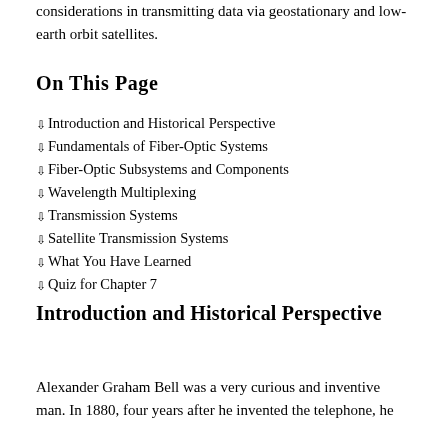considerations in transmitting data via geostationary and low-earth orbit satellites.
On This Page
Introduction and Historical Perspective
Fundamentals of Fiber-Optic Systems
Fiber-Optic Subsystems and Components
Wavelength Multiplexing
Transmission Systems
Satellite Transmission Systems
What You Have Learned
Quiz for Chapter 7
Introduction and Historical Perspective
Alexander Graham Bell was a very curious and inventive man. In 1880, four years after he invented the telephone, he